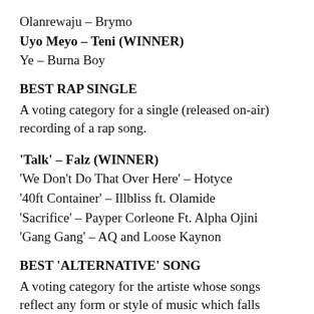Olanrewaju – Brymo
Uyo Meyo – Teni (WINNER)
Ye – Burna Boy
BEST RAP SINGLE
A voting category for a single (released on-air) recording of a rap song.
'Talk' – Falz (WINNER)
'We Don't Do That Over Here' – Hotyce
'40ft Container' – Illbliss ft. Olamide
'Sacrifice' – Payper Corleone Ft. Alpha Ojini
'Gang Gang' – AQ and Loose Kaynon
BEST 'ALTERNATIVE' SONG
A voting category for the artiste whose songs reflect any form or style of music which falls outside the mainstream of recent or past popular musical